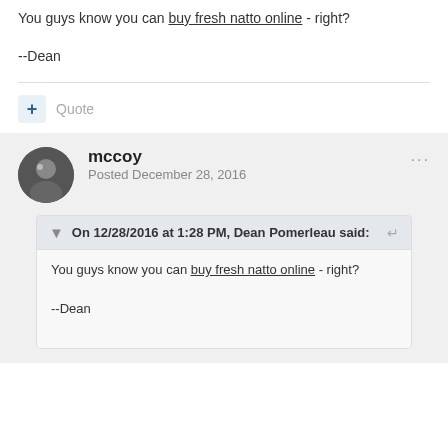You guys know you can buy fresh natto online - right?
--Dean
+ Quote
mccoy
Posted December 28, 2016
On 12/28/2016 at 1:28 PM, Dean Pomerleau said:
You guys know you can buy fresh natto online - right?
--Dean